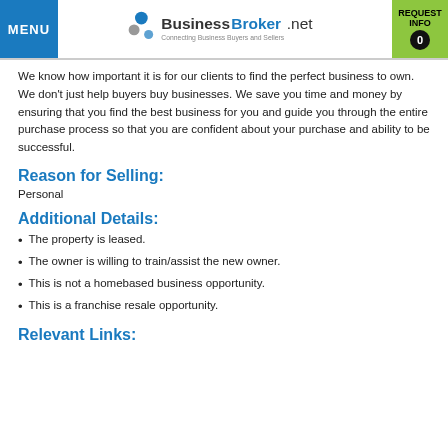MENU | BusinessBroker.net Connecting Business Buyers and Sellers | REQUEST INFO 0
We know how important it is for our clients to find the perfect business to own. We don't just help buyers buy businesses. We save you time and money by ensuring that you find the best business for you and guide you through the entire purchase process so that you are confident about your purchase and ability to be successful.
Reason for Selling:
Personal
Additional Details:
The property is leased.
The owner is willing to train/assist the new owner.
This is not a homebased business opportunity.
This is a franchise resale opportunity.
Relevant Links: